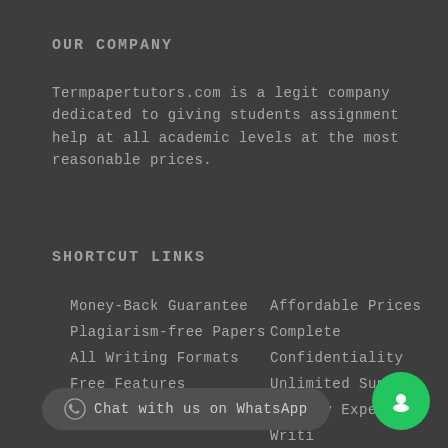OUR COMPANY
Termpapertutors.com is a legit company dedicated to giving students assignment help at all academic levels at the most reasonable prices.
SHORTCUT LINKS
Money-Back Guarantee
Affordable Prices
Plagiarism-free Papers
Complete
All Writing Formats
Confidentiality
Free Features
Unlimited Support
Quality Expert Writi...
Chat with us on WhatsApp